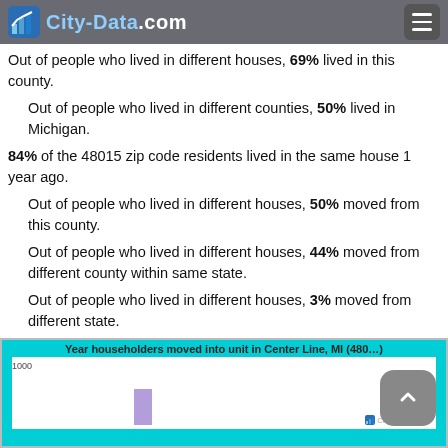City-Data.com
Out of people who lived in different houses, 69% lived in this county.
Out of people who lived in different counties, 50% lived in Michigan.
84% of the 48015 zip code residents lived in the same house 1 year ago.
Out of people who lived in different houses, 50% moved from this county.
Out of people who lived in different houses, 44% moved from different county within same state.
Out of people who lived in different houses, 3% moved from different state.
Out of people who lived in different houses, 2% moved from abroad.
[Figure (bar-chart): Bar chart showing year householders moved into unit, y-axis starts at 1000]